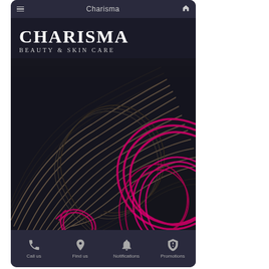Charisma
[Figure (screenshot): Charisma Beauty & Skin Care mobile app screenshot showing logo and decorative swirl artwork in dark background with magenta/pink and brown hair-like swirling lines, with bottom navigation bar showing Call us, Find us, Notifications, Promotions buttons]
Charisma
Beauty & Skin Care